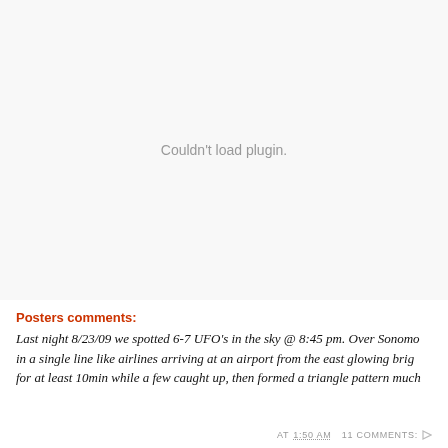[Figure (other): Plugin area showing 'Couldn't load plugin.' message in gray text on light background]
Posters comments:
Last night 8/23/09 we spotted 6-7 UFO's in the sky @ 8:45 pm. Over Sonomo in a single line like airlines arriving at an airport from the east glowing brig for at least 10min while a few caught up, then formed a triangle pattern much
AT 1:50 AM   11 COMMENTS: